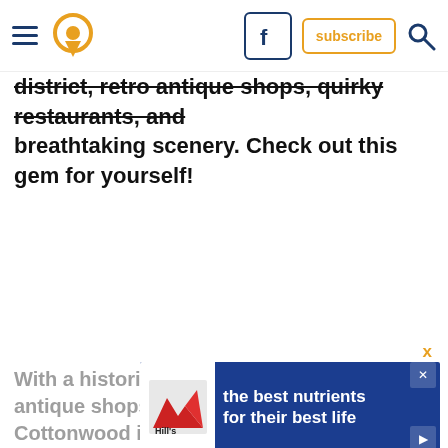[Navigation header with hamburger menu, pin/location icon, Facebook icon, subscribe button, search icon]
district, retro antique shops, quirky restaurants, and breathtaking scenery. Check out this gem for yourself!
[Figure (other): Advertisement banner for Hill's pet food: 'the best nutrients for their best life' with Hill's logo on blue background]
With a historic Old Town district featuring antique shops, cafes, and wineries, Cottonwood is the ultimate free dit...